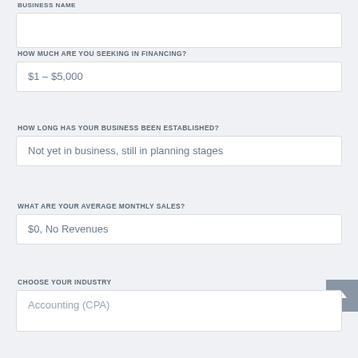BUSINESS NAME
HOW MUCH ARE YOU SEEKING IN FINANCING?
$1 – $5,000
HOW LONG HAS YOUR BUSINESS BEEN ESTABLISHED?
Not yet in business, still in planning stages
WHAT ARE YOUR AVERAGE MONTHLY SALES?
$0, No Revenues
CHOOSE YOUR INDUSTRY
Accounting (CPA)